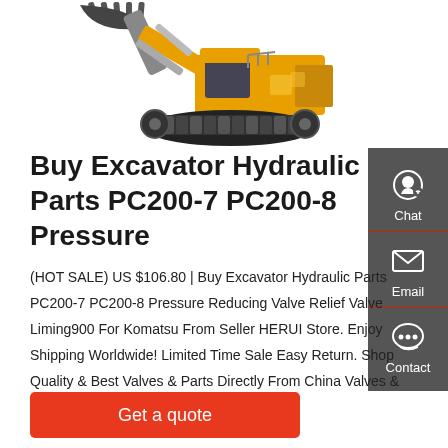[Figure (photo): Partial view of a yellow Komatsu excavator with hydraulic arm and bucket attachment, shown against white background]
Buy Excavator Hydraulic Parts PC200-7 PC200-8 Pressure
(HOT SALE) US $106.80 | Buy Excavator Hydraulic Parts PC200-7 PC200-8 Pressure Reducing Valve Relief Valve Liming900 For Komatsu From Seller HERUI Store. Enjoy Shipping Worldwide! Limited Time Sale Easy Return. Shop Quality & Best Valves & Parts Directly From China Valves & Parts Suppliers.
Get a quote